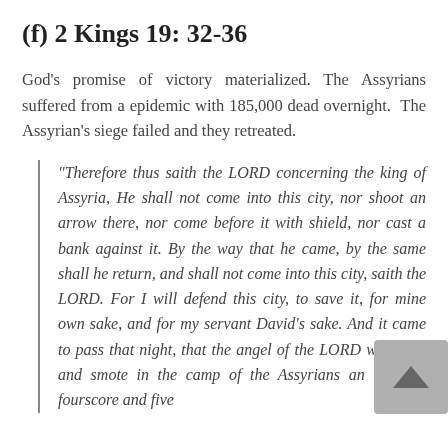(f) 2 Kings 19: 32-36
God's promise of victory materialized. The Assyrians suffered from a epidemic with 185,000 dead overnight. The Assyrian's siege failed and they retreated.
“Therefore thus saith the LORD concerning the king of Assyria, He shall not come into this city, nor shoot an arrow there, nor come before it with shield, nor cast a bank against it. By the way that he came, by the same shall he return, and shall not come into this city, saith the LORD. For I will defend this city, to save it, for mine own sake, and for my servant David’s sake. And it came to pass that night, that the angel of the LORD went out, and smote in the camp of the Assyrians an hundred fourscore and five